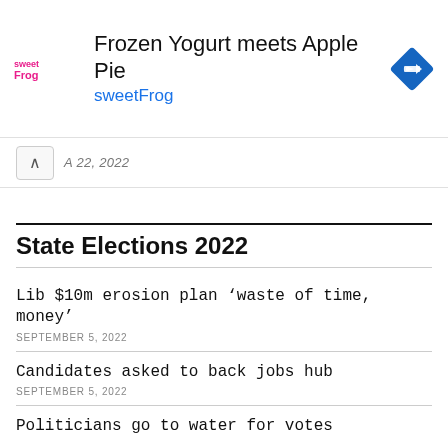[Figure (other): sweetFrog advertisement banner with logo, tagline 'Frozen Yogurt meets Apple Pie', brand name 'sweetFrog', and a blue diamond navigation icon]
22, 2022
State Elections 2022
Lib $10m erosion plan ‘waste of time, money’
SEPTEMBER 5, 2022
Candidates asked to back jobs hub
SEPTEMBER 5, 2022
Politicians go to water for votes